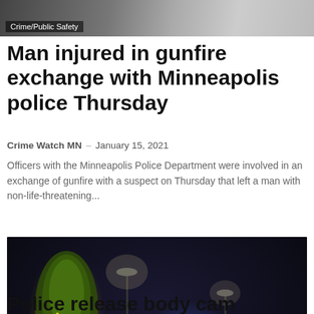[Figure (photo): Top partial image of a news article, showing a blurred crime/police scene photo with a 'Crime/Public Safety' badge overlay]
Man injured in gunfire exchange with Minneapolis police Thursday
Crime Watch MN – January 15, 2021
Officers with the Minneapolis Police Department were involved in an exchange of gunfire with a suspect on Thursday that left a man with non-life-threatening...
[Figure (photo): Nighttime street scene showing police officers standing near vehicles with headlights and blue emergency lights visible, snow on the ground and an illuminated tree on the left. 'Crime/Public Safety' badge in lower left corner.]
Police release body cam footage in fatal